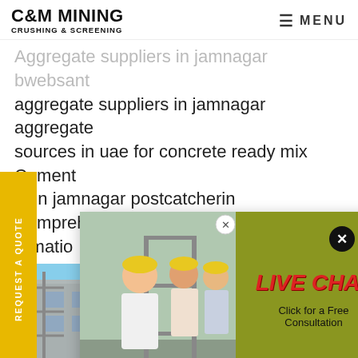C&M MINING CRUSHING & SCREENING
Aggregate suppliers in jamnagar bwebsant aggregate suppliers in jamnagar aggregate sources in uae for concrete ready mix Cement nt in jamnagar postcatcherin Comprehensive ormation anies in arat 20 d has pl
[Figure (screenshot): Live chat popup with construction workers image, showing 'LIVE CHAT - Click for a Free Consultation' text, Chat now and Chat later buttons, and a customer service representative on the right side]
[Figure (screenshot): Side tab reading 'REQUEST A QUOTE' rotated vertically in yellow/gold color]
[Figure (photo): Construction building with scaffolding against blue sky]
[Figure (infographic): Quotation box with dark blue background, italic text 'Have any requests, click here.' and orange Quotation button]